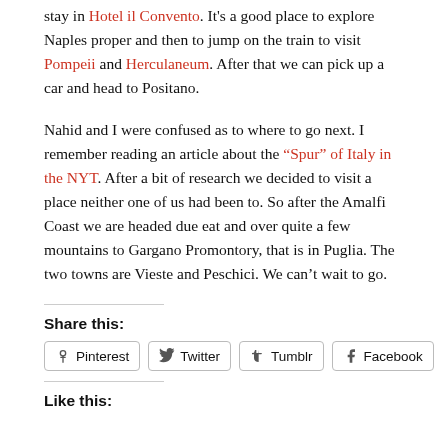stay in Hotel il Convento. It's a good place to explore Naples proper and then to jump on the train to visit Pompeii and Herculaneum. After that we can pick up a car and head to Positano.
Nahid and I were confused as to where to go next. I remember reading an article about the “Spur” of Italy in the NYT. After a bit of research we decided to visit a place neither one of us had been to. So after the Amalfi Coast we are headed due eat and over quite a few mountains to Gargano Promontory, that is in Puglia. The two towns are Vieste and Peschici. We can’t wait to go.
Share this:
[Figure (other): Share buttons row: Pinterest, Twitter, Tumblr, Facebook]
Like this: